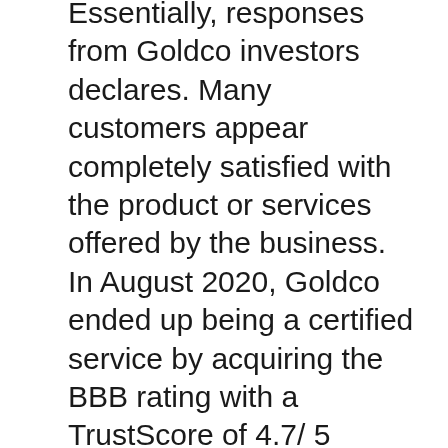Essentially, responses from Goldco investors declares. Many customers appear completely satisfied with the product or services offered by the business. In August 2020, Goldco ended up being a certified service by acquiring the BBB rating with a TrustScore of 4.7/ 5 based on responses obtained from more than 500 capitalists. Far, there are no registered grievances about the business on the Consumer Financial Defense Bureau.
Customers likewise reveal their interest with the means Goldco manages its paperwork. The business directly handles all documentation needed when registering for a Gold IRA account. In this manner, the client does not need to get in touch with individual retirement account custodians or storage